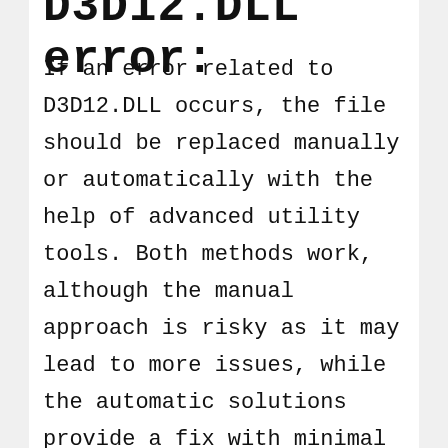D3D12.DLL error:
If an error related to D3D12.DLL occurs, the file should be replaced manually or automatically with the help of advanced utility tools. Both methods work, although the manual approach is risky as it may lead to more issues, while the automatic solutions provide a fix with minimal effort on your part.
We created a list of known fixes that are proven to work with your issue.
Feel free to use any of the tested methods below to fix the D3D12.DLL error on your computer: